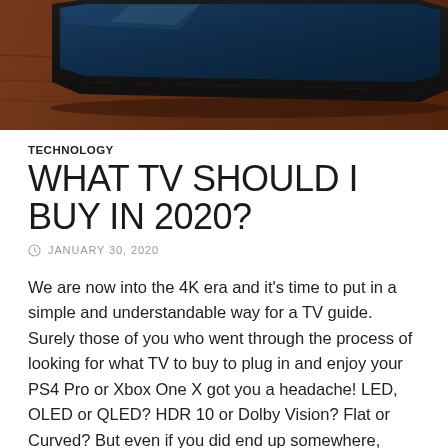[Figure (photo): Top portion of a flat screen TV on a wooden table surface, dark background, close-up angle showing the thin edge of the TV screen]
TECHNOLOGY
WHAT TV SHOULD I BUY IN 2020?
JANUARY 30, 2020
We are now into the 4K era and it's time to put in a simple and understandable way for a TV guide. Surely those of you who went through the process of looking for what TV to buy to plug in and enjoy your PS4 Pro or Xbox One X got you a headache! LED, OLED or QLED? HDR 10 or Dolby Vision? Flat or Curved? But even if you did end up somewhere, gamers should also be aware of some additional features before purchasing, such as Input lag, Peak Brightness and Colour